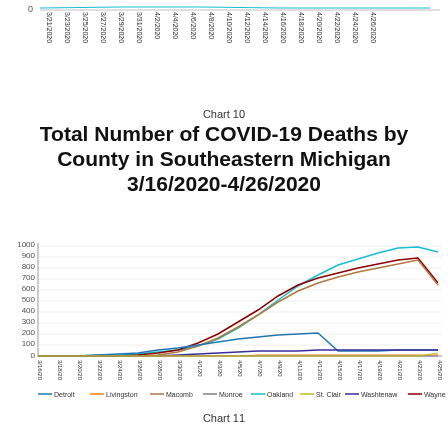[Figure (line-chart): Top portion of a line chart cut off at top of page, showing dates from 3/21/2020 to 4/26/2020 on x-axis, value near 0 visible]
Chart 10
Total Number of COVID-19 Deaths by County in Southeastern Michigan 3/16/2020-4/26/2020
[Figure (line-chart): Multi-line chart showing cumulative COVID-19 deaths by county from 3/16/2020 to 4/26/2020. Oakland line rises steeply to ~925, Wayne to ~650, Macomb to ~625, Detroit line visible, others low near 0-50.]
Chart 11